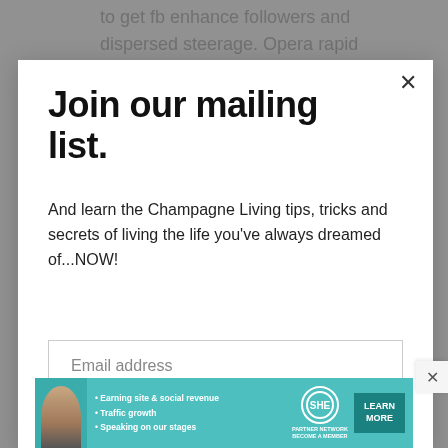to get fb enhance followers and dispersed steerage. Opera rapid
Join our mailing list.
And learn the Champagne Living tips, tricks and secrets of living the life you've always dreamed of...NOW!
Email address
Subscribe
[Figure (infographic): SHE Partner Network advertisement banner with woman photo, bullet points: Earning site & social revenue, Traffic growth, Speaking on our stages, SHE logo, BECOME A MEMBER, LEARN MORE button]